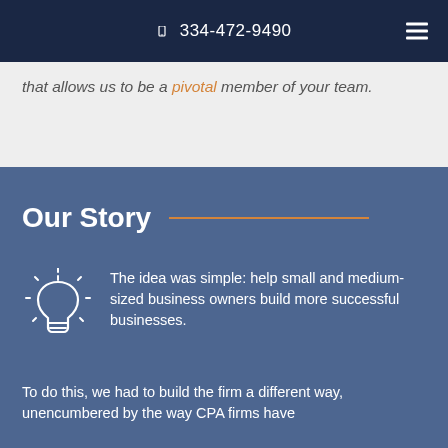334-472-9490
that allows us to be a pivotal member of your team.
Our Story
The idea was simple: help small and medium-sized business owners build more successful businesses.
To do this, we had to build the firm a different way, unencumbered by the way CPA firms have